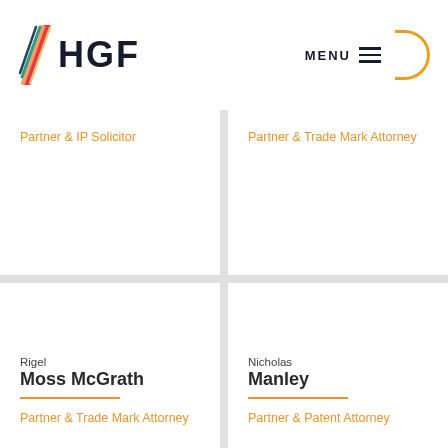HGF | MENU
Partner & IP Solicitor
Partner & Trade Mark Attorney
Rigel Moss McGrath
Partner & Trade Mark Attorney
Nicholas Manley
Partner & Patent Attorney